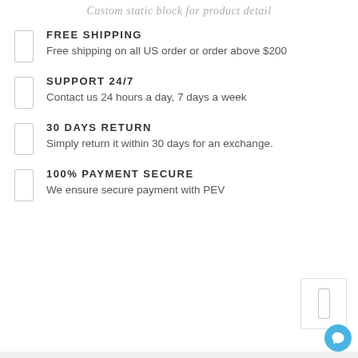Custom static block for product detail
FREE SHIPPING
Free shipping on all US order or order above $200
SUPPORT 24/7
Contact us 24 hours a day, 7 days a week
30 DAYS RETURN
Simply return it within 30 days for an exchange.
100% PAYMENT SECURE
We ensure secure payment with PEV